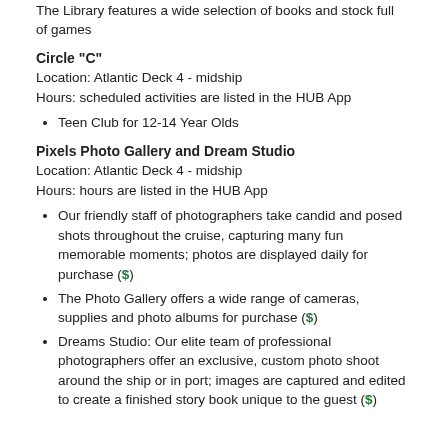The Library features a wide selection of books and stock full of games
Circle "C"
Location: Atlantic Deck 4 - midship
Hours: scheduled activities are listed in the HUB App
Teen Club for 12-14 Year Olds
Pixels Photo Gallery and Dream Studio
Location: Atlantic Deck 4 - midship
Hours: hours are listed in the HUB App
Our friendly staff of photographers take candid and posed shots throughout the cruise, capturing many fun memorable moments; photos are displayed daily for purchase ($)
The Photo Gallery offers a wide range of cameras, supplies and photo albums for purchase ($)
Dreams Studio: Our elite team of professional photographers offer an exclusive, custom photo shoot around the ship or in port; images are captured and edited to create a finished story book unique to the guest ($)